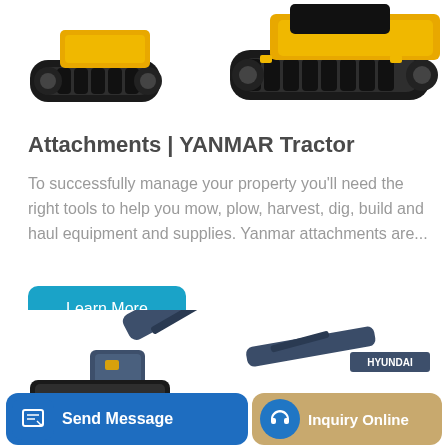[Figure (photo): Partial view of a yellow/black crawler excavator or tracked machine, showing the undercarriage and lower body from above, cropped at the top of the page.]
Attachments | YANMAR Tractor
To successfully manage your property you'll need the right tools to help you mow, plow, harvest, dig, build and haul equipment and supplies. Yanmar attachments are...
[Figure (other): Blue 'Learn More' rounded button]
[Figure (photo): Dark blue/grey Hyundai excavator boom and arm shown from side angle, partially visible, cropped.]
[Figure (other): Bottom navigation bar with 'Send Message' button (dark blue, with document icon) and 'Inquiry Online' button (tan/gold, with headset icon in blue circle).]